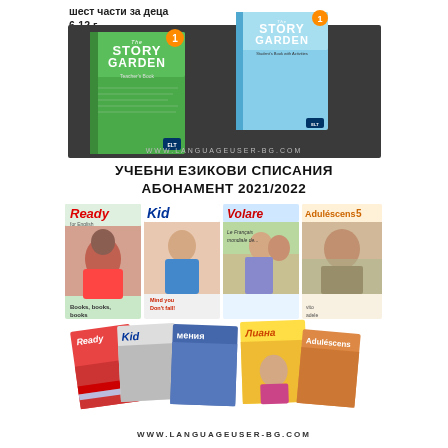шест части за деца 6-12 г.
[Figure (illustration): Advertisement for Story Garden textbook series - Teacher's Book and Student's Book covers shown against dark background with website URL WWW.LANGUAGEUSER-BG.COM]
УЧЕБНИ ЕЗИКОВИ СПИСАНИЯ АБОНАМЕНТ 2021/2022
[Figure (illustration): Collection of educational language magazines: Ready for English, Kid, Volare, Aduléscens 5, and others, shown in two rows - upright covers and scattered magazines below]
WWW.LANGUAGEUSER-BG.COM